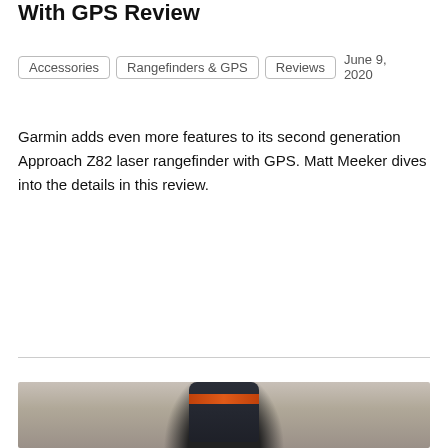With GPS Review
Accessories  Rangefinders & GPS  Reviews  June 9, 2020
Garmin adds even more features to its second generation Approach Z82 laser rangefinder with GPS. Matt Meeker dives into the details in this review.
Continue Reading →
[Figure (photo): Photo of a Garmin Approach Z82 laser rangefinder device with an orange stripe, placed on a stone/cobblestone surface, viewed from above at an angle.]